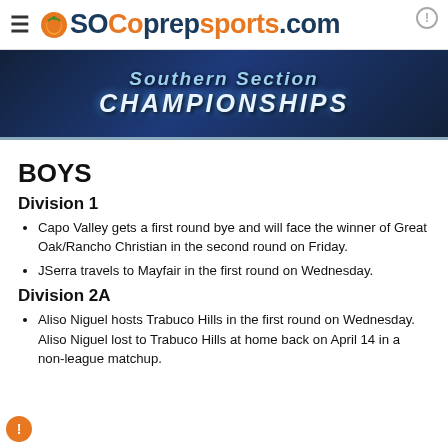SOCoPrePSports.com
[Figure (logo): Southern Section Championships banner logo with blue background and stylized text]
BOYS
Division 1
Capo Valley gets a first round bye and will face the winner of Great Oak/Rancho Christian in the second round on Friday.
JSerra travels to Mayfair in the first round on Wednesday.
Division 2A
Aliso Niguel hosts Trabuco Hills in the first round on Wednesday. Aliso Niguel lost to Trabuco Hills at home back on April 14 in a non-league matchup.